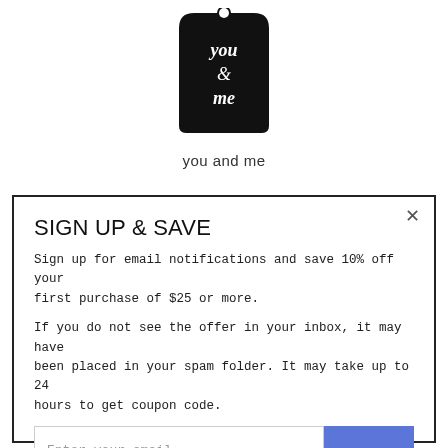[Figure (logo): A black price-tag shaped logo with white script text reading 'you & me']
you and me
SIGN UP & SAVE
Sign up for email notifications and save 10% off your first purchase of $25 or more.
If you do not see the offer in your inbox, it may have been placed in your spam folder. It may take up to 24 hours to get coupon code.
Enter your email